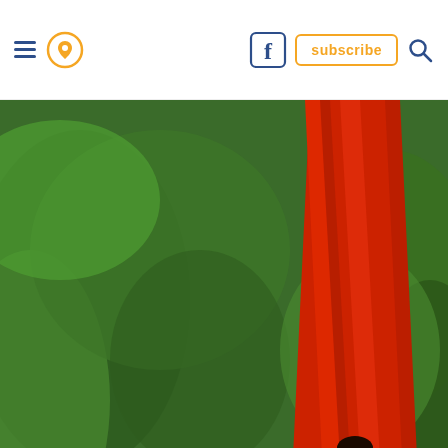Navigation bar with hamburger menu, location pin icon, Facebook icon, subscribe button, search icon
[Figure (photo): Three people on a circular inflatable tube riding a steep red water slide at Wet n Wild Palm Springs, surrounded by lush green vegetation]
facebook/wet n wild palm springs
[Figure (infographic): Hill's pet nutrition advertisement banner: 'the best nutrients for their best life' on blue background with Hill's logo and play button]
[Figure (logo): Volvo logo text and 'The Volvo XC90 Recharge Plug-in Hybrid' text on light grey background]